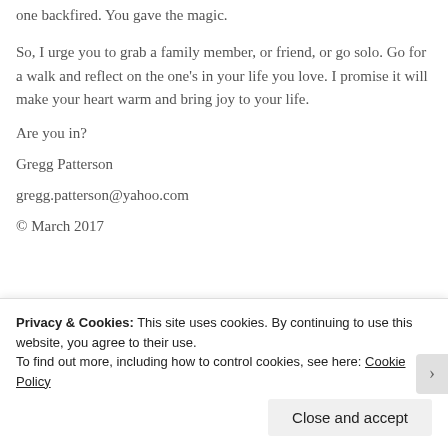one backfired.  You gave the magic.
So, I urge you to grab a family member, or friend, or go solo. Go for a walk and reflect on the one’s in your life you love.  I promise it will make your heart warm and bring joy to your life.
Are you in?
Gregg Patterson
gregg.patterson@yahoo.com
© March 2017
Privacy & Cookies: This site uses cookies. By continuing to use this website, you agree to their use.
To find out more, including how to control cookies, see here: Cookie Policy
Close and accept